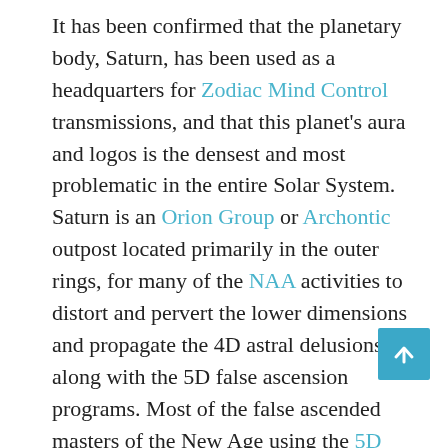It has been confirmed that the planetary body, Saturn, has been used as a headquarters for Zodiac Mind Control transmissions, and that this planet's aura and logos is the densest and most problematic in the entire Solar System. Saturn is an Orion Group or Archontic outpost located primarily in the outer rings, for many of the NAA activities to distort and pervert the lower dimensions and propagate the 4D astral delusions along with the 5D false ascension programs. Most of the false ascended masters of the New Age using the 5D false ascension program through Orion Group are actually broadcasts transmitted through the Saturnian body in the dimensional area of the Galactic Portal. Additionally, through field work, it was confirmed all forms of blood cult worship were designed through Orion